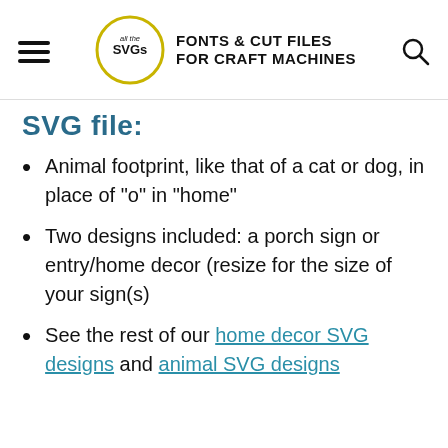all the SVGs — FONTS & CUT FILES FOR CRAFT MACHINES
SVG file:
Animal footprint, like that of a cat or dog, in place of "o" in "home"
Two designs included: a porch sign or entry/home decor (resize for the size of your sign(s)
See the rest of our home decor SVG designs and animal SVG designs